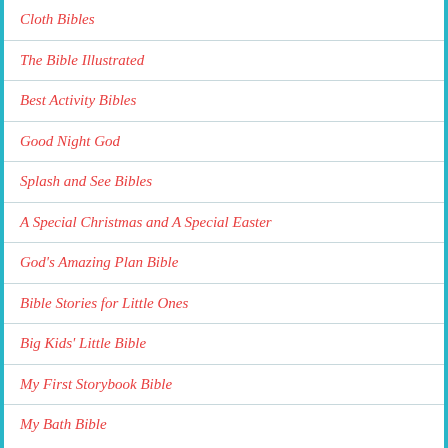Cloth Bibles
The Bible Illustrated
Best Activity Bibles
Good Night God
Splash and See Bibles
A Special Christmas and A Special Easter
God's Amazing Plan Bible
Bible Stories for Little Ones
Big Kids' Little Bible
My First Storybook Bible
My Bath Bible